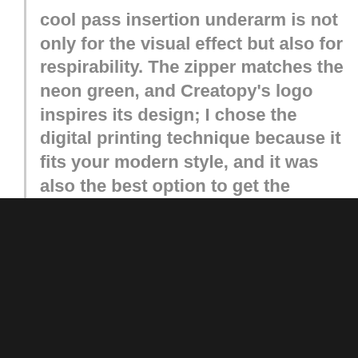cool pass insertion underarm is not only for the visual effect but also for respirability. The zipper matches the neon green, and Creatopy's logo inspires its design; I chose the digital printing technique because it fits your modern style, and it was also the best option to get the gradient in the logo.
Get inspired and stay on top of your creative journey. Be the first to know the latest news and updates.
Enter your email
Subscribe now